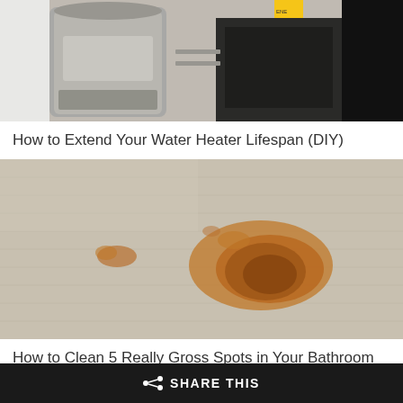[Figure (photo): Photo of a water heater with yellow label and dark background]
How to Extend Your Water Heater Lifespan (DIY)
[Figure (photo): Close-up photo of an orange/brown stain on beige carpet]
How to Clean 5 Really Gross Spots in Your Bathroom
[Figure (photo): Partially visible dark image at bottom of page with yellow button]
◄ SHARE THIS